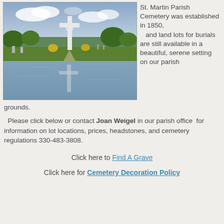[Figure (photo): Cemetery with a large white cross reflected in a pond, with green lawn, grave markers, and trees in the background under a partly cloudy sky.]
St. Martin Parish Cemetery was established in 1850, and land lots for burials are still available in a beautiful, serene setting on our parish grounds.
Please click below or contact Joan Weigel in our parish office for information on lot locations, prices, headstones, and cemetery regulations 330-483-3808.
Click here to Find A Grave
Click here for Cemetery Decoration Policy